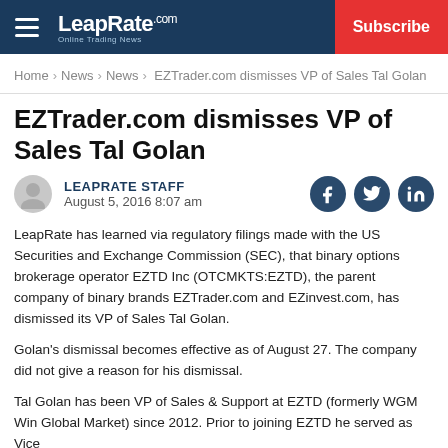LeapRate.com — Subscribe
Home › News › News › EZTrader.com dismisses VP of Sales Tal Golan
EZTrader.com dismisses VP of Sales Tal Golan
LEAPRATE STAFF
August 5, 2016 8:07 am
LeapRate has learned via regulatory filings made with the US Securities and Exchange Commission (SEC), that binary options brokerage operator EZTD Inc (OTCMKTS:EZTD), the parent company of binary brands EZTrader.com and EZinvest.com, has dismissed its VP of Sales Tal Golan.
Golan's dismissal becomes effective as of August 27. The company did not give a reason for his dismissal.
Tal Golan has been VP of Sales & Support at EZTD (formerly WGM Win Global Market) since 2012. Prior to joining EZTD he served as Vice